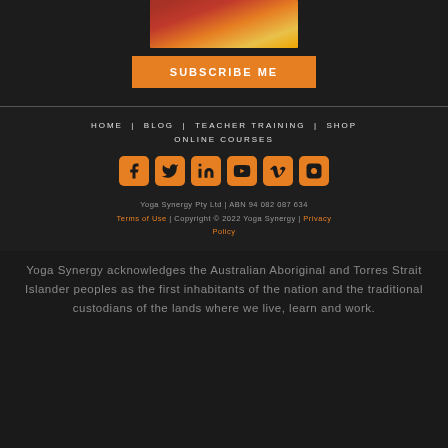[Figure (photo): Partial photo of a person in colorful, floral clothing]
SUBSCRIBE ME
HOME | BLOG | TEACHER TRAINING | SHOP | ONLINE COURSES
[Figure (infographic): Social media icons: Facebook, Twitter, LinkedIn, YouTube, Vimeo, Instagram — all in orange]
Yoga Synergy Pty Ltd | ABN 94 082 087 634
Terms of Use | Copyright © 2022 Yoga Synergy | Privacy Policy
Yoga Synergy acknowledges the Australian Aboriginal and Torres Strait Islander peoples as the first inhabitants of the nation and the traditional custodians of the lands where we live, learn and work.